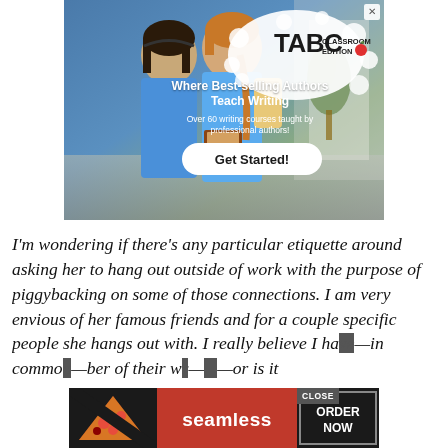[Figure (illustration): TABC Classroom Edition advertisement banner showing two girls in blue t-shirts carrying books, with text 'Where Best-selling Authors Teach Writing', 'Over 60 writing courses taught by professional authors!', and a 'Get Started!' button]
I'm wondering if there's any particular etiquette around asking her to hang out outside of work with the purpose of piggybacking on some of those connections. I am very envious of her famous friends and for a couple specific people she hangs out with. I really believe I have—in common—ber of their w— —or is it
[Figure (illustration): Seamless food delivery advertisement banner showing pizza image on left, 'seamless' brand name in center on red background, 'ORDER NOW' button on right with 'CLOSE' button at top]